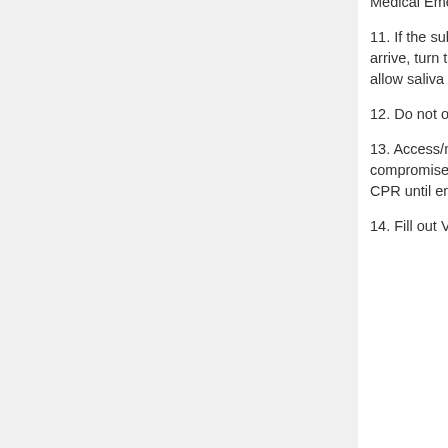Medical Emergency.
11. If the subject recovers before emergency personnel arrive, turn the person to one side (rescue position) to allow saliva to drain from the mouth.
12. Do not offer the person any fluid or drink.
13. Access/monitor for respiratory or cardiac compromise. If necessary, begin rescue breathing or CPR until emergency medical personnel arrives.
14. Fill out Variance Report.